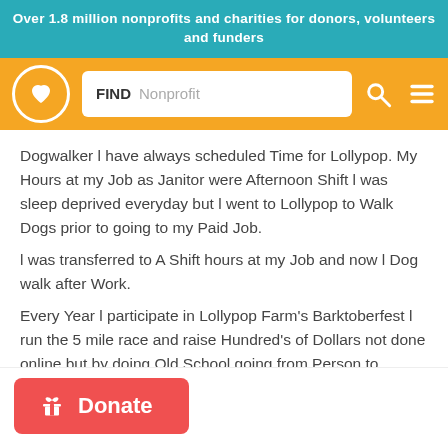Over 1.8 million nonprofits and charities for donors, volunteers and funders
[Figure (screenshot): Orange navigation bar with a circular logo with heart icon, a search box labeled FIND with placeholder text Nonprofit, a search icon, and a hamburger menu icon]
Dogwalker l have always scheduled Time for Lollypop. My Hours at my Job as Janitor were Afternoon Shift l was sleep deprived everyday but l went to Lollypop to Walk Dogs prior to going to my Paid Job.
l was transferred to A Shift hours at my Job and now l Dog walk after Work.
Every Year l participate in Lollypop Farm's Barktoberfest l run the 5 mile race and raise Hundred's of Dollars not done online but by doing Old School going from Person to Person
[Figure (infographic): Red Donate button with gift/present icon on the left and bold white text Donate]